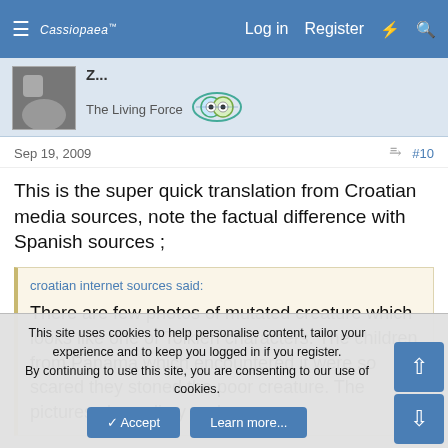Cassiopaea Forum — Log in  Register
[Figure (screenshot): User avatar thumbnail - grayscale image]
Z...
The Living Force
[Figure (logo): The Living Force badge icon - colorful circular eye-like logo]
Sep 19, 2009   #10
This is the super quick translation from Croatian media sources, note the factual difference with Spanish sources ;
croatian internet sources said:
There are few photos of mutated creature which looks like one of Tolkien characters. The children from Panama which encountered it were so scared they stoned the poor creature. The pictures show slimy and
This site uses cookies to help personalise content, tailor your experience and to keep you logged in if you register.
By continuing to use this site, you are consenting to our use of cookies.
✓ Accept   Learn more...